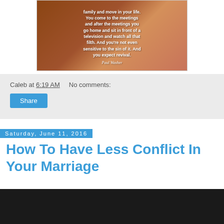[Figure (photo): Photo of a man in a suit with a quote overlay: 'family and move in your life. You come to the meetings and after the meetings you go home and sit in front of a television and watch all that filth. And you're not even sensitive to the sin of it. And you expect revival.' — Paul Washer]
Caleb at 6:19 AM    No comments:
Share
Saturday, June 11, 2016
How To Have Less Conflict In Your Marriage
[Figure (screenshot): Dark/black video thumbnail area at bottom of page]